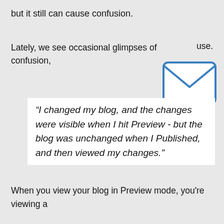but it still can cause confusion.
Lately, we see occasional glimpses of confusion, use.
[Figure (illustration): Email/envelope icon with blue outline]
“I changed my blog, and the changes were visible when I hit Preview - but the blog was unchanged when I Published, and then viewed my changes.”
When you view your blog in Preview mode, you're viewing a private copy of the blog, that nobody else gets to see.
The preview copy is dynamically generated, as you edit. Use Preview, and observe the URL shown in the browser address window. Here's what I see, as an example.
[Figure (illustration): Up arrow icon button]
[Figure (screenshot): Browser address bar screenshot at bottom of page]